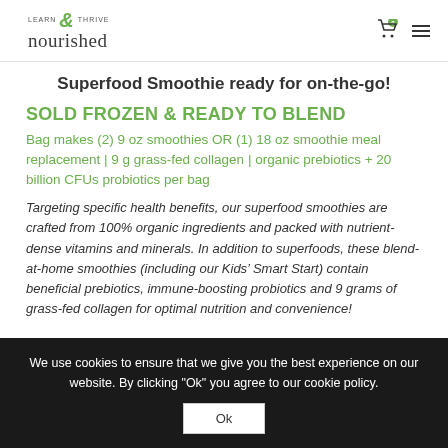learn & thrive nourished
Superfood Smoothie ready for on-the-go!
SOLD FROZEN & READY TO BLEND
Bag makes (2) 9 oz smoothies OR (1) 18 oz smoothie meal replacement | 9 g grass-fed collagen | organic prebiotics + 20 billion CFUs probiotics per bag
Targeting specific health benefits, our superfood smoothies are crafted from 100% organic ingredients and packed with nutrient-dense vitamins and minerals. In addition to superfoods, these blend-at-home smoothies (including our Kids’ Smart Start) contain beneficial prebiotics, immune-boosting probiotics and 9 grams of grass-fed collagen for optimal nutrition and convenience!
We use cookies to ensure that we give you the best experience on our website. By clicking "Ok" you agree to our cookie policy.